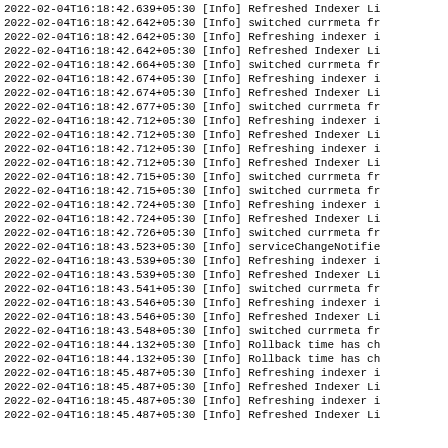2022-02-04T16:18:42.639+05:30 [Info] Refreshed Indexer Li
2022-02-04T16:18:42.642+05:30 [Info] switched currmeta fr
2022-02-04T16:18:42.642+05:30 [Info] Refreshing indexer i
2022-02-04T16:18:42.642+05:30 [Info] Refreshed Indexer Li
2022-02-04T16:18:42.664+05:30 [Info] switched currmeta fr
2022-02-04T16:18:42.674+05:30 [Info] Refreshing indexer i
2022-02-04T16:18:42.674+05:30 [Info] Refreshed Indexer Li
2022-02-04T16:18:42.677+05:30 [Info] switched currmeta fr
2022-02-04T16:18:42.712+05:30 [Info] Refreshing indexer i
2022-02-04T16:18:42.712+05:30 [Info] Refreshed Indexer Li
2022-02-04T16:18:42.712+05:30 [Info] Refreshing indexer i
2022-02-04T16:18:42.712+05:30 [Info] Refreshed Indexer Li
2022-02-04T16:18:42.715+05:30 [Info] switched currmeta fr
2022-02-04T16:18:42.715+05:30 [Info] switched currmeta fr
2022-02-04T16:18:42.724+05:30 [Info] Refreshing indexer i
2022-02-04T16:18:42.724+05:30 [Info] Refreshed Indexer Li
2022-02-04T16:18:42.726+05:30 [Info] switched currmeta fr
2022-02-04T16:18:43.523+05:30 [Info] serviceChangeNotifie
2022-02-04T16:18:43.539+05:30 [Info] Refreshing indexer i
2022-02-04T16:18:43.539+05:30 [Info] Refreshed Indexer Li
2022-02-04T16:18:43.541+05:30 [Info] switched currmeta fr
2022-02-04T16:18:43.546+05:30 [Info] Refreshing indexer i
2022-02-04T16:18:43.546+05:30 [Info] Refreshed Indexer Li
2022-02-04T16:18:43.548+05:30 [Info] switched currmeta fr
2022-02-04T16:18:44.132+05:30 [Info] Rollback time has ch
2022-02-04T16:18:44.132+05:30 [Info] Rollback time has ch
2022-02-04T16:18:45.487+05:30 [Info] Refreshing indexer i
2022-02-04T16:18:45.487+05:30 [Info] Refreshed Indexer Li
2022-02-04T16:18:45.487+05:30 [Info] Refreshing indexer i
2022-02-04T16:18:45.487+05:30 [Info] Refreshed Indexer Li